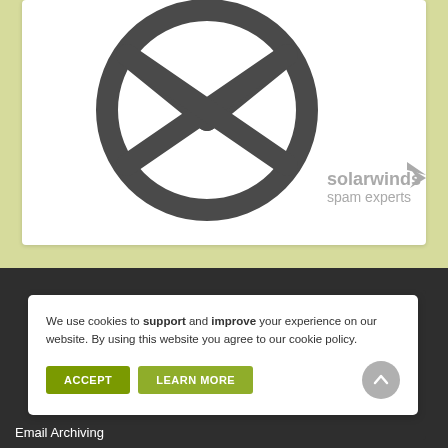[Figure (logo): SolarWinds Spam Experts logo: a dark gray circular icon with an envelope/X symbol, and gray text reading 'solarwinds spam experts' with a stylized arrow/wing mark]
We use cookies to support and improve your experience on our website. By using this website you agree to our cookie policy.
ACCEPT   LEARN MORE
Email Archiving